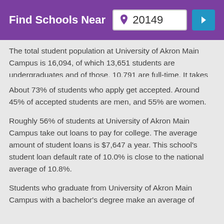Find Schools Near 20149
The total student population at University of Akron Main Campus is 16,094, of which 13,651 students are undergraduates and of those, 10,791 are full-time. It takes the average University of Akron Main Campus undergraduate about 4.6 years to complete their degree.
About 73% of students who apply get accepted. Around 45% of accepted students are men, and 55% are women.
Roughly 56% of students at University of Akron Main Campus take out loans to pay for college. The average amount of student loans is $7,647 a year. This school's student loan default rate of 10.0% is close to the national average of 10.8%.
Students who graduate from University of Akron Main Campus with a bachelor's degree make an average of